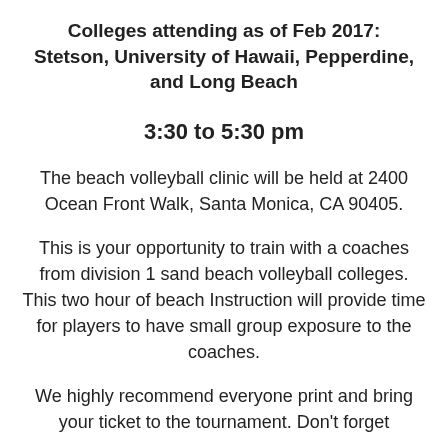Colleges attending as of Feb 2017: Stetson, University of Hawaii, Pepperdine, and Long Beach
3:30 to 5:30 pm
The beach volleyball clinic will be held at 2400 Ocean Front Walk, Santa Monica, CA 90405.
This is your opportunity to train with a coaches from division 1 sand beach volleyball colleges. This two hour of beach Instruction will provide time for players to have small group exposure to the coaches.
We highly recommend everyone print and bring your ticket to the tournament. Don't forget...